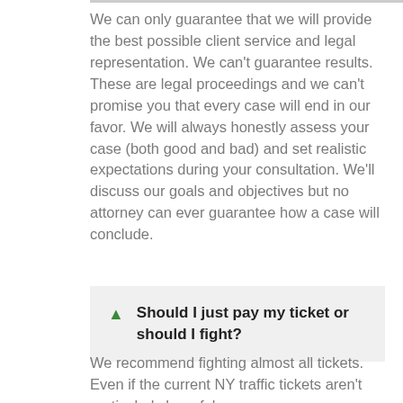We can only guarantee that we will provide the best possible client service and legal representation. We can't guarantee results. These are legal proceedings and we can't promise you that every case will end in our favor. We will always honestly assess your case (both good and bad) and set realistic expectations during your consultation. We'll discuss our goals and objectives but no attorney can ever guarantee how a case will conclude.
Should I just pay my ticket or should I fight?
We recommend fighting almost all tickets. Even if the current NY traffic tickets aren't particularly harmful, you